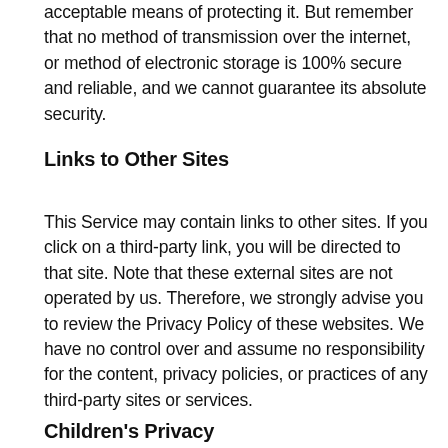acceptable means of protecting it. But remember that no method of transmission over the internet, or method of electronic storage is 100% secure and reliable, and we cannot guarantee its absolute security.
Links to Other Sites
This Service may contain links to other sites. If you click on a third-party link, you will be directed to that site. Note that these external sites are not operated by us. Therefore, we strongly advise you to review the Privacy Policy of these websites. We have no control over and assume no responsibility for the content, privacy policies, or practices of any third-party sites or services.
Children's Privacy